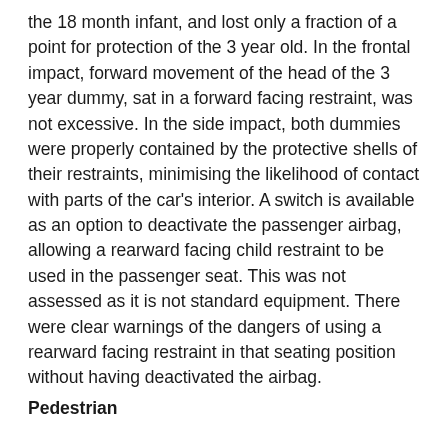the 18 month infant, and lost only a fraction of a point for protection of the 3 year old. In the frontal impact, forward movement of the head of the 3 year dummy, sat in a forward facing restraint, was not excessive. In the side impact, both dummies were properly contained by the protective shells of their restraints, minimising the likelihood of contact with parts of the car's interior. A switch is available as an option to deactivate the passenger airbag, allowing a rearward facing child restraint to be used in the passenger seat. This was not assessed as it is not standard equipment. There were clear warnings of the dangers of using a rearward facing restraint in that seating position without having deactivated the airbag.
Pedestrian